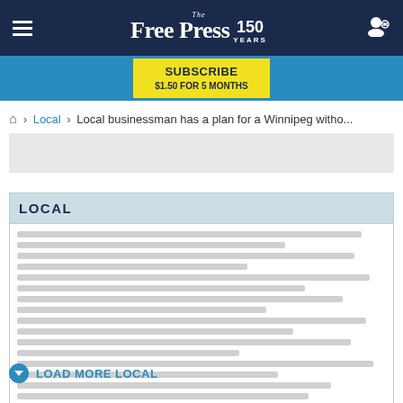The Free Press 150 YEARS
SUBSCRIBE $1.50 FOR 5 MONTHS
Home > Local > Local businessman has a plan for a Winnipeg witho...
[Figure (other): Advertisement placeholder block, light gray background]
LOCAL
[Figure (other): Content skeleton rows with gray placeholder lines representing article listings]
LOAD MORE LOCAL